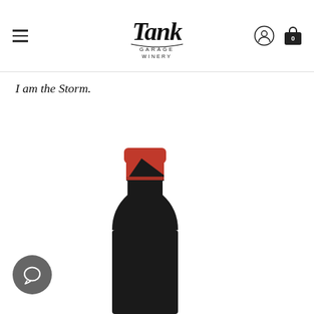Tank Garage Winery — navigation header with hamburger menu, logo, account icon, and cart (0)
I am the Storm.
[Figure (photo): Close-up of a red wine bottle neck and capsule. The capsule is red and black, with a diagonal design split. The bottle is dark/black glass.]